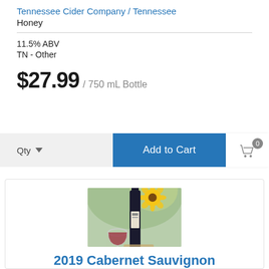Tennessee Cider Company / Tennessee
Honey
11.5% ABV
TN - Other
$27.99 / 750 mL Bottle
Qty
Add to Cart
[Figure (photo): Photo of a wine bottle with a sunflower and a glass of red wine on an outdoor table]
2019 Cabernet Sauvignon